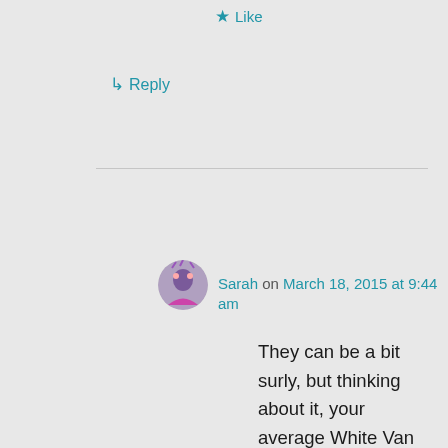★ Like
↳ Reply
Sarah on March 18, 2015 at 9:44 am
They can be a bit surly, but thinking about it, your average White Van Man veers towards the end of the surly spectrum too. 🙂
★ Like
↳ Reply
Pecora Nera on March 18, 2015 at 10:05 am